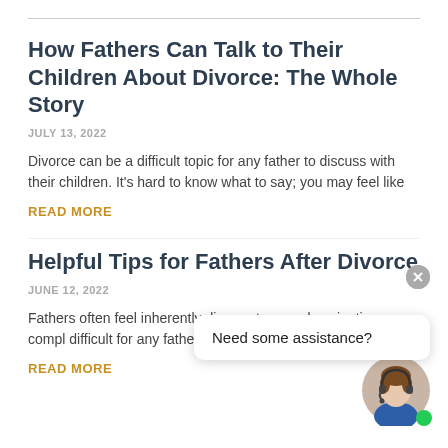How Fathers Can Talk to Their Children About Divorce: The Whole Story
JULY 13, 2022
Divorce can be a difficult topic for any father to discuss with their children. It's hard to know what to say; you may feel like
READ MORE
Helpful Tips for Fathers After Divorce
JUNE 12, 2022
Fathers often feel inherently disa system, and navigating a compl difficult for any father. However, once the
READ MORE
Need some assistance?